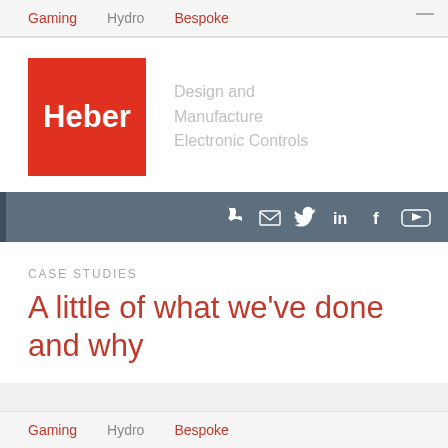Gaming   Hydro   Bespoke
[Figure (logo): Heber logo — white text 'Heber' on red square background, with tagline 'Design and Manufacture Electronic Controls' in grey to the right]
Social media icons: phone, email, twitter, linkedin, facebook, youtube
CASE STUDIES
A little of what we've done and why
Gaming   Hydro   Bespoke